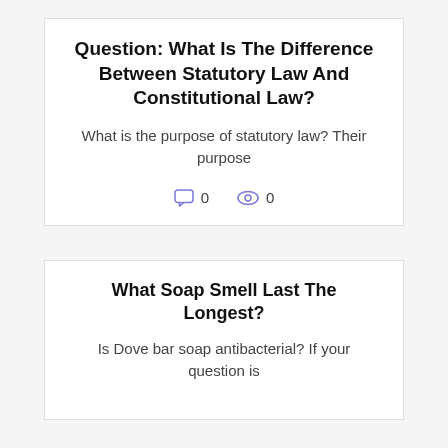Question: What Is The Difference Between Statutory Law And Constitutional Law?
What is the purpose of statutory law? Their purpose
0  0
What Soap Smell Last The Longest?
Is Dove bar soap antibacterial? If your question is